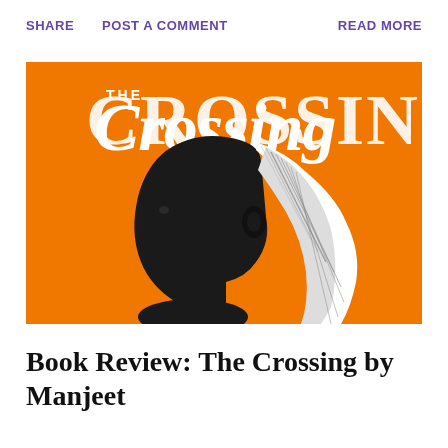SHARE   POST A COMMENT   READ MORE
[Figure (illustration): Book cover of 'The Crossing' showing an orange background with white hand-lettered title text 'THE CROSSING' at top, and a black and white illustration of a person's head in profile facing left, with long white flowing hair or fabric behind them.]
Book Review: The Crossing by Manjeet